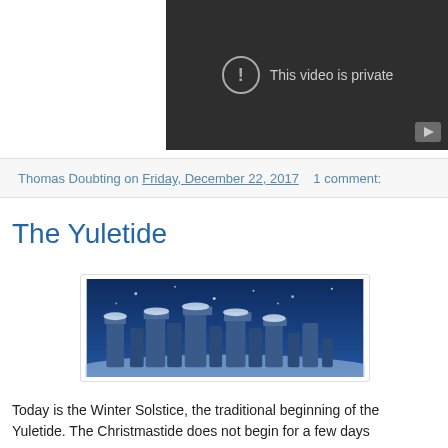[Figure (screenshot): YouTube embedded video player showing 'This video is private' message on dark background with a play button icon in the corner]
Thomas Doubting on Friday, December 22, 2017    1 comment:
The Yuletide
[Figure (photo): Stonehenge covered in snow against a blue night sky]
Today is the Winter Solstice, the traditional beginning of the Yuletide. The Christmastide does not begin for a few days